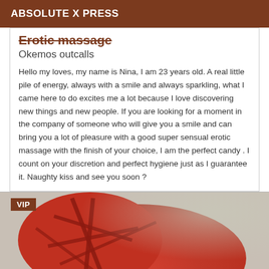ABSOLUTE X PRESS
Erotic massage
Okemos outcalls
Hello my loves, my name is Nina, I am 23 years old. A real little pile of energy, always with a smile and always sparkling, what I came here to do excites me a lot because I love discovering new things and new people. If you are looking for a moment in the company of someone who will give you a smile and can bring you a lot of pleasure with a good super sensual erotic massage with the finish of your choice, I am the perfect candy . I count on your discretion and perfect hygiene just as I guarantee it. Naughty kiss and see you soon ?
[Figure (photo): Photo of a person in a red lace/strappy lingerie top, close-up view from behind/side, with a VIP badge overlay in the top-left corner]